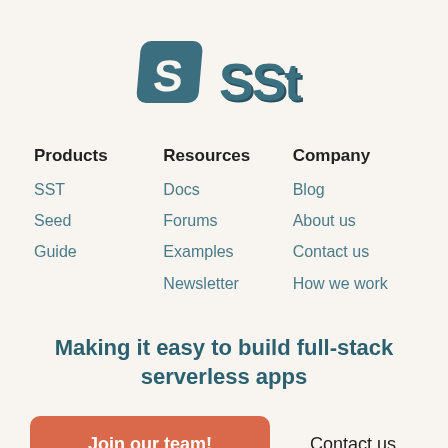[Figure (logo): SST logo with stylized 'S' icon and 'SST' text in teal/dark blue 3D style lettering]
Products
SST
Seed
Guide
Resources
Docs
Forums
Examples
Newsletter
Company
Blog
About us
Contact us
How we work
Making it easy to build full-stack serverless apps
Join our team!
Contact us